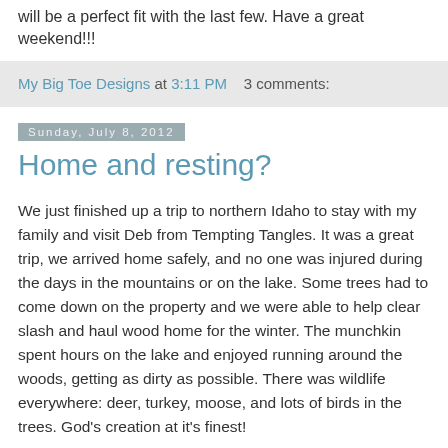will be a perfect fit with the last few. Have a great weekend!!!
My Big Toe Designs at 3:11 PM   3 comments:
Sunday, July 8, 2012
Home and resting?
We just finished up a trip to northern Idaho to stay with my family and visit Deb from Tempting Tangles. It was a great trip, we arrived home safely, and no one was injured during the days in the mountains or on the lake. Some trees had to come down on the property and we were able to help clear slash and haul wood home for the winter. The munchkin spent hours on the lake and enjoyed running around the woods, getting as dirty as possible. There was wildlife everywhere: deer, turkey, moose, and lots of birds in the trees. God's creation at it's finest!
Speaking of wildlife... we had a visitor in our yard a few weeks ago. A skunk! It was adorable from a distance,